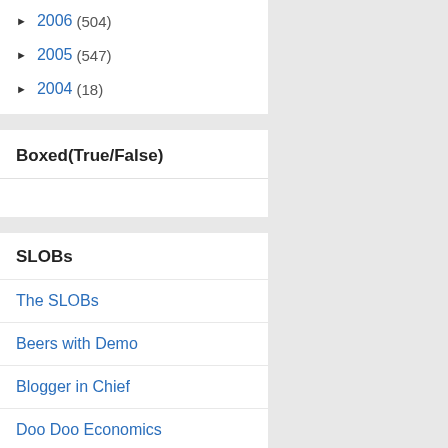► 2006 (504)
► 2005 (547)
► 2004 (18)
Boxed(True/False)
SLOBs
The SLOBs
Beers with Demo
Blogger in Chief
Doo Doo Economics
Dueling Barstools
Left Coast Rebel
Liberator Today